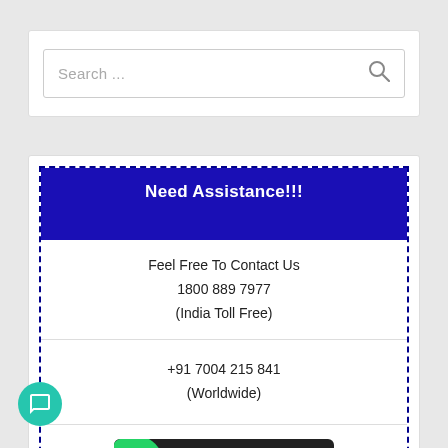[Figure (screenshot): Search bar input box with 'Search ...' placeholder text and a magnifying glass icon on the right]
Need Assistance!!!
Feel Free To Contact Us
1800 889 7977
(India Toll Free)
+91 7004 215 841
(Worldwide)
[Figure (logo): WhatsApp Click to Chat button with green WhatsApp logo circle and dark background with yellow 'CLICK TO CHAT' text]